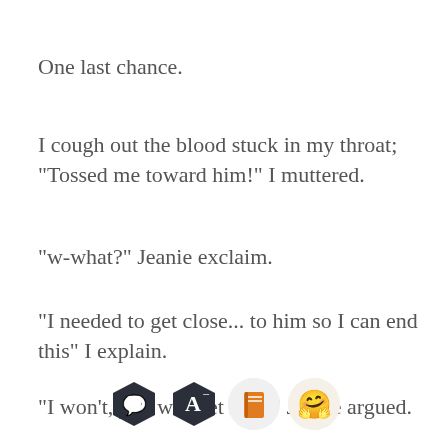One last chance.
I cough out the blood stuck in my throat; "Tossed me toward him!" I muttered.
"w-what?" Jeanie exclaim.
"I needed to get close... to him so I can end this" I explain.
"I won't, you will get hurt!" Jeanie argued.
[Figure (screenshot): App toolbar with four icons: dark hexagon chat bubble, dark hexagon letter A with minus, light circle orange book, light circle smiling face emoji]